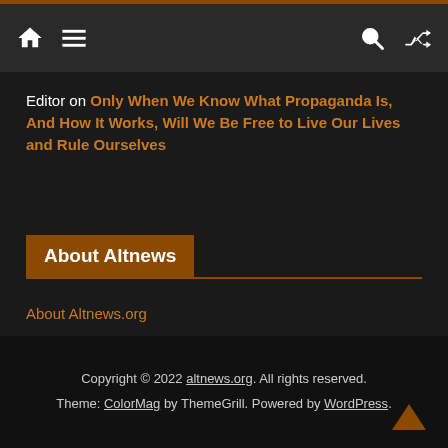Navigation bar with home, menu, search, and shuffle icons
Editor on Only When We Know What Propaganda Is, And How It Works, Will We Be Free to Live Our Lives and Rule Ourselves
About Altnews
About Altnews.org
Legalities
System Notices
Copyright © 2022 altnews.org. All rights reserved. Theme: ColorMag by ThemeGrill. Powered by WordPress.